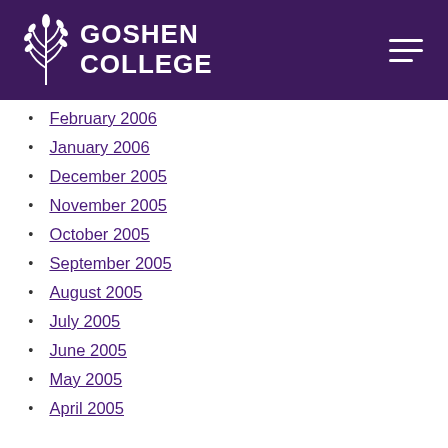Goshen College
February 2006
January 2006
December 2005
November 2005
October 2005
September 2005
August 2005
July 2005
June 2005
May 2005
April 2005